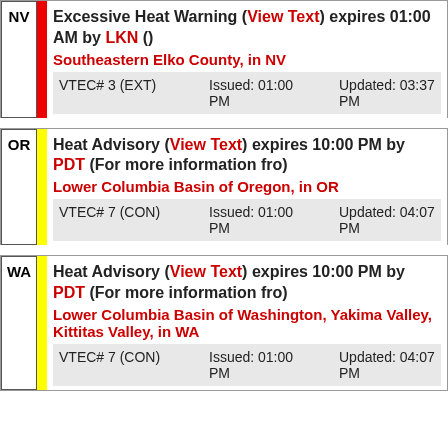NV | Excessive Heat Warning (View Text) expires 01:00 AM by LKN () Southeastern Elko County, in NV VTEC# 3 (EXT) Issued: 01:00 PM Updated: 03:37 PM
OR | Heat Advisory (View Text) expires 10:00 PM by PDT (For more information fro) Lower Columbia Basin of Oregon, in OR VTEC# 7 (CON) Issued: 01:00 PM Updated: 04:07 PM
WA | Heat Advisory (View Text) expires 10:00 PM by PDT (For more information fro) Lower Columbia Basin of Washington, Yakima Valley, Kittitas Valley, in WA VTEC# 7 (CON) Issued: 01:00 PM Updated: 04:07 PM